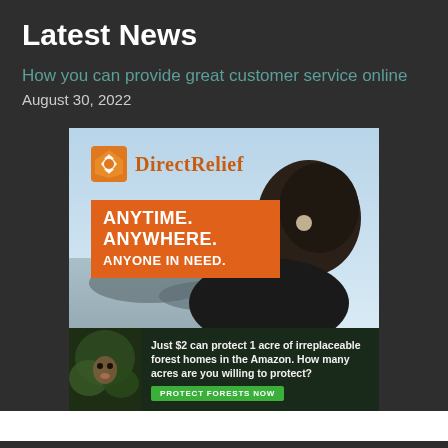Latest News
How you can provide great customer service online
August 30, 2022
[Figure (photo): Direct Relief advertisement banner with logo and tagline 'ANYTIME. ANYWHERE. ANYONE IN NEED.' over a photo of a woman with dark hair looking at a disaster-affected landscape.]
[Figure (photo): Forest conservation ad: 'Just $2 can protect 1 acre of irreplaceable forest homes in the Amazon. How many acres are you willing to protect?' with a green 'PROTECT FORESTS NOW' button and wildlife image.]